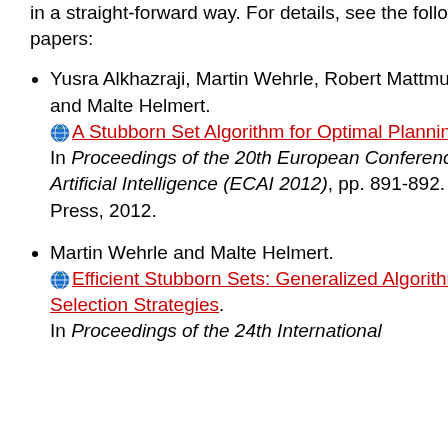in a straight-forward way. For details, see the following papers:
Yusra Alkhazraji, Martin Wehrle, Robert Mattmueller and Malte Helmert. A Stubborn Set Algorithm for Optimal Planning. In Proceedings of the 20th European Conference on Artificial Intelligence (ECAI 2012), pp. 891-892. IOS Press, 2012.
Martin Wehrle and Malte Helmert. Efficient Stubborn Sets: Generalized Algorithms and Selection Strategies. In Proceedings of the 24th International...